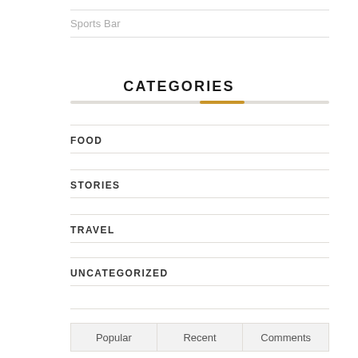Sports Bar
CATEGORIES
FOOD
STORIES
TRAVEL
UNCATEGORIZED
Popular  Recent  Comments